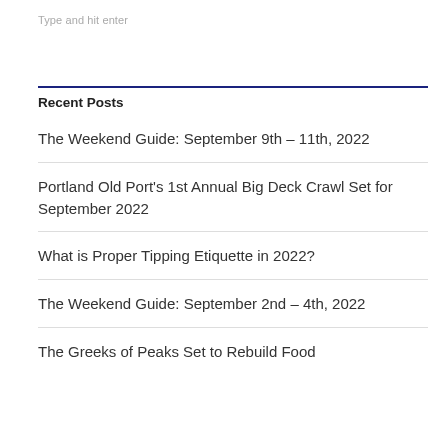Type and hit enter
Recent Posts
The Weekend Guide: September 9th – 11th, 2022
Portland Old Port's 1st Annual Big Deck Crawl Set for September 2022
What is Proper Tipping Etiquette in 2022?
The Weekend Guide: September 2nd – 4th, 2022
The Greeks of Peaks Set to Rebuild Food